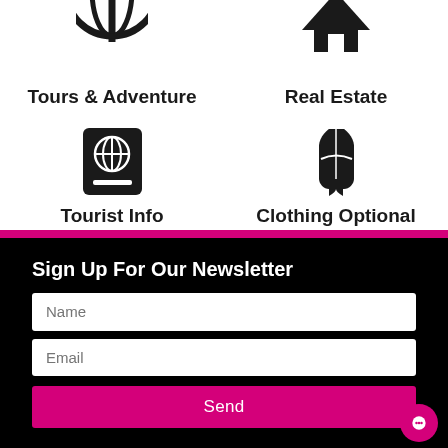[Figure (illustration): Tours & Adventure icon (circular globe with cross) at top left, partially cropped]
Tours & Adventure
[Figure (illustration): Real Estate icon (house outline) at top right, partially cropped]
Real Estate
[Figure (illustration): Tourist Info icon (black passport with globe symbol)]
Tourist Info
[Figure (illustration): Clothing Optional icon (figure silhouette)]
Clothing Optional
Sign Up For Our Newsletter
Name
Email
Send